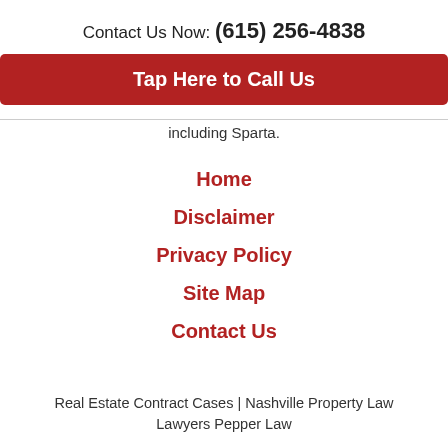Contact Us Now: (615) 256-4838
Tap Here to Call Us
including Sparta.
Home
Disclaimer
Privacy Policy
Site Map
Contact Us
Real Estate Contract Cases | Nashville Property Law Lawyers Pepper Law